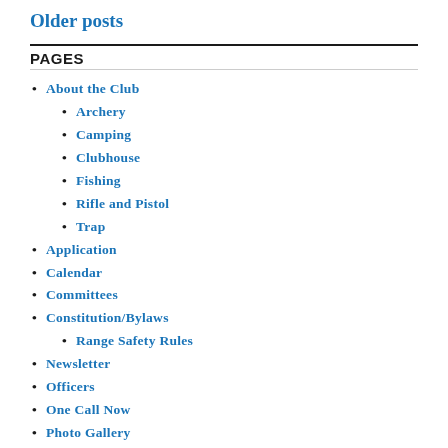Older posts
PAGES
About the Club
Archery
Camping
Clubhouse
Fishing
Rifle and Pistol
Trap
Application
Calendar
Committees
Constitution/Bylaws
Range Safety Rules
Newsletter
Officers
One Call Now
Photo Gallery
Update Member Information